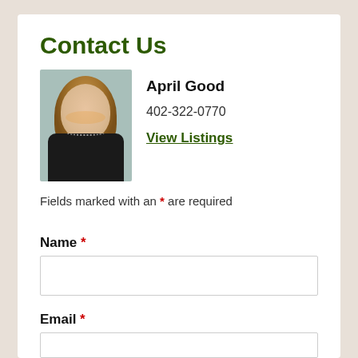Contact Us
[Figure (photo): Headshot of April Good, a woman with long brown wavy hair, wearing a black outfit and a necklace, smiling, with a blurred background.]
April Good
402-322-0770
View Listings
Fields marked with an * are required
Name *
Email *